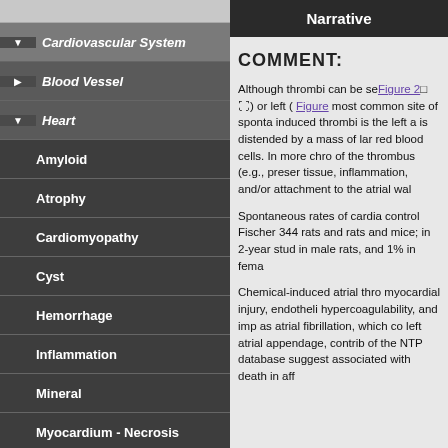Cardiovascular System
Blood Vessel
Heart
Amyloid
Atrophy
Cardiomyopathy
Cyst
Hemorrhage
Inflammation
Mineral
Myocardium - Necrosis
Myocardium - Vacuolation,
Narrative
COMMENT:
Although thrombi can be seen Figure 2 ) or left ( Figure most common site of sponta induced thrombi is the left a is distended by a mass of lar red blood cells. In more chro of the thrombus (e.g., preser tissue, inflammation, and/or attachment to the atrial wal

Spontaneous rates of cardia control Fischer 344 rats and rats and mice; in 2-year stud in male rats, and 1% in fema

Chemical-induced atrial thro myocardial injury, endotheli hypercoagulability, and imp as atrial fibrillation, which co left atrial appendage, contrib of the NTP database suggest associated with death in aff